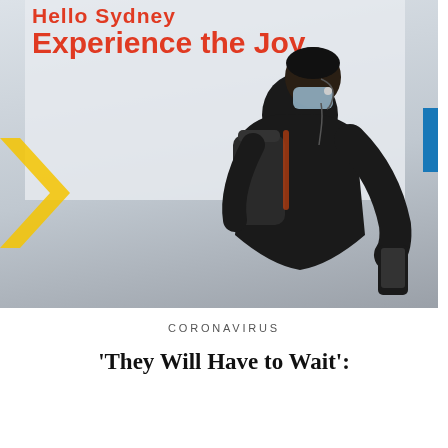[Figure (photo): A person wearing a face mask and carrying a backpack looks down at their phone while walking past a billboard that reads 'Hello Sydney Experience the Joy' with a yellow Qantas-style logo. The image is set in Sydney, Australia, during the COVID-19 pandemic.]
CORONAVIRUS
'They Will Have to Wait':